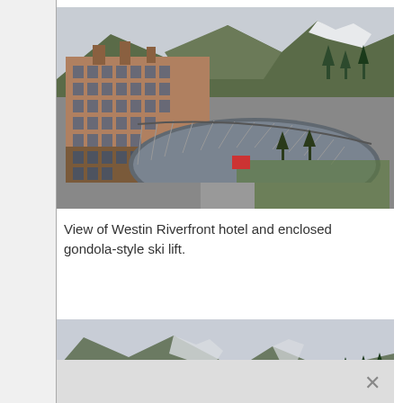[Figure (photo): Aerial/elevated view of Westin Riverfront hotel building with mountains in background, including a large enclosed gondola-style ski lift structure in foreground. Snow-capped mountains and trees visible in distance.]
View of Westin Riverfront hotel and enclosed gondola-style ski lift.
[Figure (photo): Partial view of mountain range with light snow patches and forested slopes against a pale sky. Bottom portion shows a blurred/out-of-focus lighter area.]